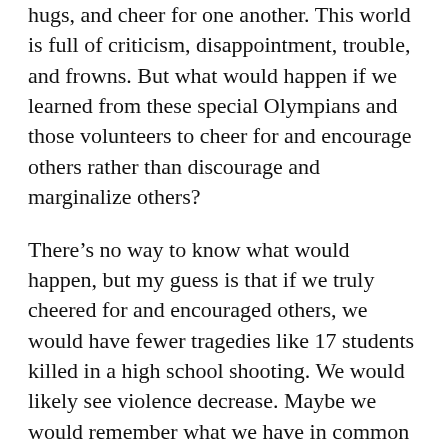hugs, and cheer for one another. This world is full of criticism, disappointment, trouble, and frowns. But what would happen if we learned from these special Olympians and those volunteers to cheer for and encourage others rather than discourage and marginalize others?
There’s no way to know what would happen, but my guess is that if we truly cheered for and encouraged others, we would have fewer tragedies like 17 students killed in a high school shooting. We would likely see violence decrease. Maybe we would remember what we have in common rather than our differences. Maybe our world would change, one person, one special person, at a time.
Can you imagine what would happen in our church if we made a habit of cheering on and encouraging others? If we patted people on the back and said “great job” instead of criticizing and cutting down? It seems like this is God’s design for His church. I Thessalonians 5:11, written by Paul to the church at Thessalonika, says “Therefore encourage one another and build